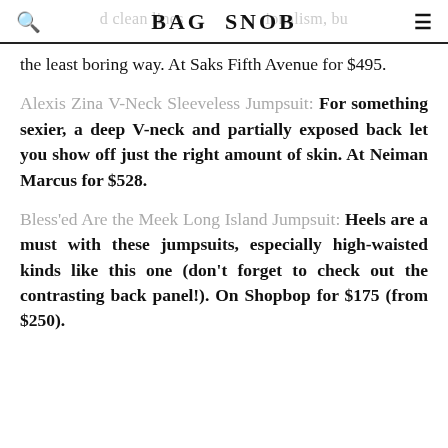BAG SNOB
the least boring way. At Saks Fifth Avenue for $495.
Alexis Zina V-Neck Sleeveless Jumpsuit: For something sexier, a deep V-neck and partially exposed back let you show off just the right amount of skin. At Neiman Marcus for $528.
Bless'ed Are the Meek Long Island Jumpsuit: Heels are a must with these jumpsuits, especially high-waisted kinds like this one (don't forget to check out the contrasting back panel!). On Shopbop for $175 (from $250).